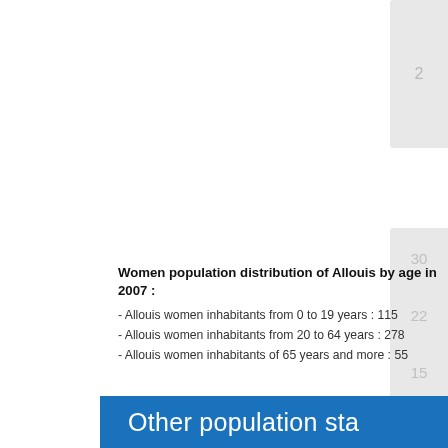Women population distribution of Allouis by age in 2007 :
- Allouis women inhabitants from 0 to 19 years : 115
- Allouis women inhabitants from 20 to 64 years : 278
- Allouis women inhabitants of 65 years and more : 55
Other population sta